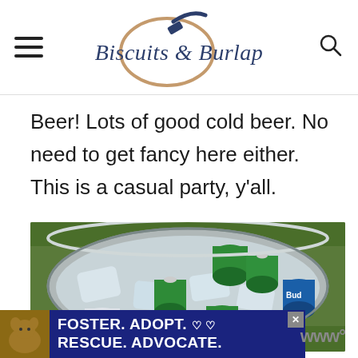Biscuits & Burlap
Beer! Lots of good cold beer. No need to get fancy here either. This is a casual party, y'all.
[Figure (photo): Overhead view of a galvanized metal tub filled with ice and canned beers (Miller Lite, green cans, blue cans) sitting on grass outdoors]
[Figure (photo): Ad banner: dog photo on left, text FOSTER. ADOPT. RESCUE. ADVOCATE. in white on dark blue background with heart icons and close button]